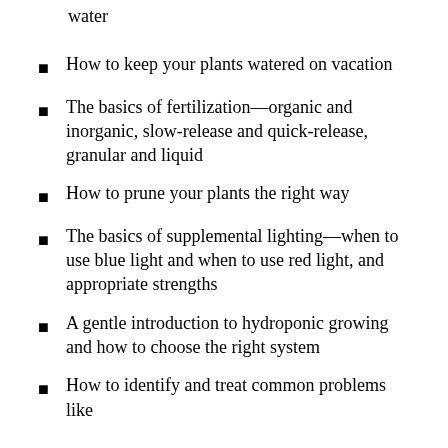water
How to keep your plants watered on vacation
The basics of fertilization—organic and inorganic, slow-release and quick-release, granular and liquid
How to prune your plants the right way
The basics of supplemental lighting—when to use blue light and when to use red light, and appropriate strengths
A gentle introduction to hydroponic growing and how to choose the right system
How to identify and treat common problems like